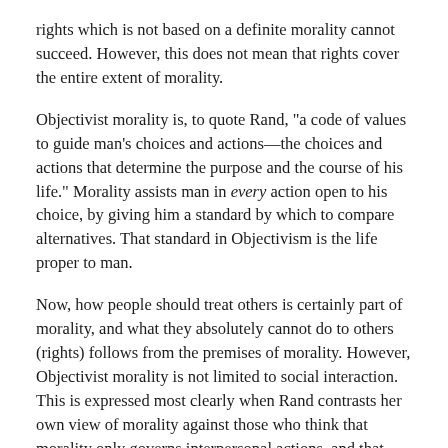rights which is not based on a definite morality cannot succeed. However, this does not mean that rights cover the entire extent of morality.
Objectivist morality is, to quote Rand, "a code of values to guide man's choices and actions—the choices and actions that determine the purpose and the course of his life." Morality assists man in every action open to his choice, by giving him a standard by which to compare alternatives. That standard in Objectivism is the life proper to man.
Now, how people should treat others is certainly part of morality, and what they absolutely cannot do to others (rights) follows from the premises of morality. However, Objectivist morality is not limited to social interaction. This is expressed most clearly when Rand contrasts her own view of morality against those who think that morality only governs interpersonal actions, and that man would not need morality if he were alone on a desert island: "You who prattle that morality is social and that man would need no morality on a desert island—it is on a desert island that he would need it most." Even by himself, he needs to be rational and purposeful in sustaining his life, and this is the essence of morality.